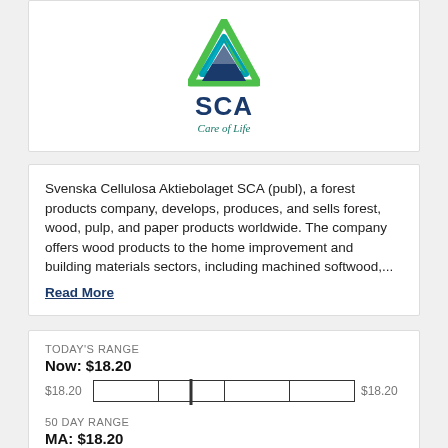[Figure (logo): SCA (Svenska Cellulosa Aktiebolaget) logo — triangular geometric icon in teal/green/dark blue, with 'SCA' wordmark and 'Care of Life' tagline]
Svenska Cellulosa Aktiebolaget SCA (publ), a forest products company, develops, produces, and sells forest, wood, pulp, and paper products worldwide. The company offers wood products to the home improvement and building materials sectors, including machined softwood,... Read More
TODAY'S RANGE
Now: $18.20
$18.20  [range bar]  $18.20
50 DAY RANGE
MA: $18.20
$18.20  [range bar]  $18.20